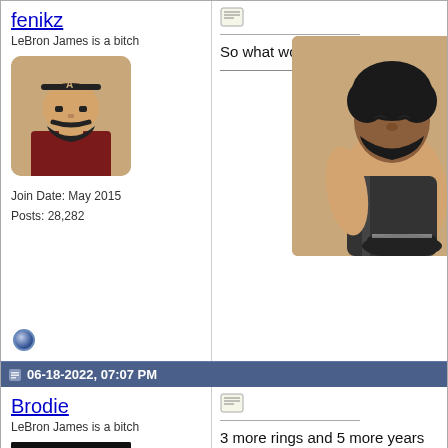fenikz
LeBron James is a bitch
[Figure (illustration): Pixel art avatar of a man with dark beard and baseball cap wearing a dark red jersey]
Join Date: May 2015
Posts: 28,282
[Figure (illustration): Small document/quote icon]
So what would it take?
[Figure (illustration): Illustration of a basketball player (LeBron James) in a light beige/tan illustrated style, partially visible on right side]
06-18-2022, 07:07 PM
Brodie
LeBron James is a bitch
[Figure (photo): Photo of two wrestlers/fighters, partially visible, dark background]
Join Date: May 2015
[Figure (illustration): Small document/quote icon]
3 more rings and 5 more years of all